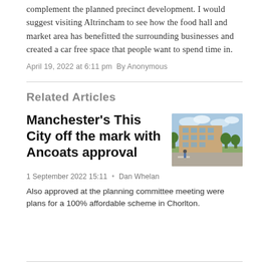complement the planned precinct development. I would suggest visiting Altrincham to see how the food hall and market area has benefitted the surrounding businesses and created a car free space that people want to spend time in.
April 19, 2022 at 6:11 pm By Anonymous
Related Articles
Manchester's This City off the mark with Ancoats approval
[Figure (photo): Architectural rendering of a multi-storey brick building with trees and a street scene in Ancoats, Manchester]
1 September 2022 15:11 • Dan Whelan
Also approved at the planning committee meeting were plans for a 100% affordable scheme in Chorlton.